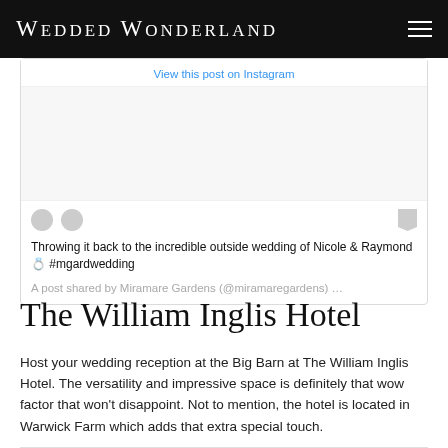Wedded Wonderland
[Figure (screenshot): Instagram embed card showing a post from Miramare Gardens (@miramaregardens) with a 'View this post on Instagram' link, social action icons (like, comment, bookmark), caption text, and shared by attribution]
Throwing it back to the incredible outside wedding of Nicole & Raymond 💍 #mgardwedding
A post shared by Miramare Gardens (@miramaregardens) …
The William Inglis Hotel
Host your wedding reception at the Big Barn at The William Inglis Hotel. The versatility and impressive space is definitely that wow factor that won't disappoint. Not to mention, the hotel is located in Warwick Farm which adds that extra special touch.